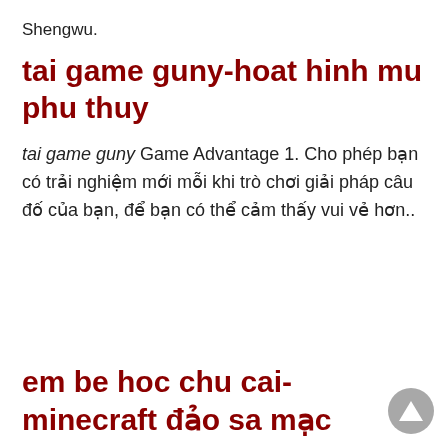Shengwu.
tai game guny-hoat hinh mu phu thuy
tai game guny Game Advantage 1. Cho phép bạn có trải nghiệm mới mỗi khi trò chơi giải pháp câu đố của bạn, để bạn có thể cảm thấy vui vẻ hơn..
em be hoc chu cai-minecraft đảo sa mạc